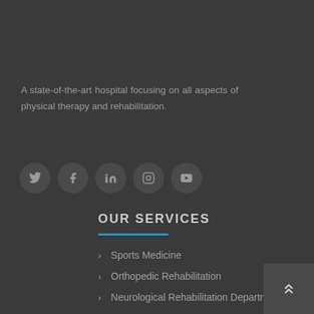A state-of-the-art hospital focusing on all aspects of physical therapy and rehabilitation.
[Figure (illustration): Row of 5 circular social media icon buttons (Twitter, Facebook, LinkedIn, Instagram, YouTube) on dark background]
OUR SERVICES
Sports Medicine
Orthopedic Rehabilitation
Neurological Rehabilitation Department